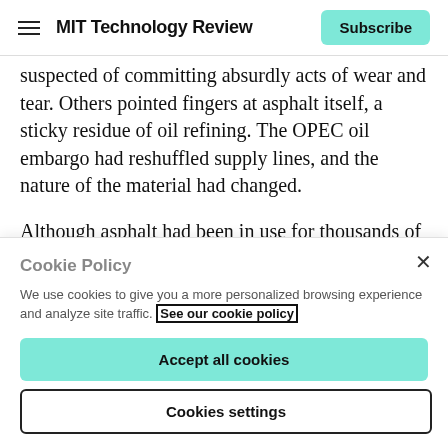MIT Technology Review | Subscribe
suspected of committing absurdly acts of wear and tear. Others pointed fingers at asphalt itself, a sticky residue of oil refining. The OPEC oil embargo had reshuffled supply lines, and the nature of the material had changed.
Although asphalt had been in use for thousands of years (the ancient Egyptians used it for mummification) and gravel even longer, pavement’s mechanical properties lay
Cookie Policy
We use cookies to give you a more personalized browsing experience and analyze site traffic. See our cookie policy
Accept all cookies
Cookies settings